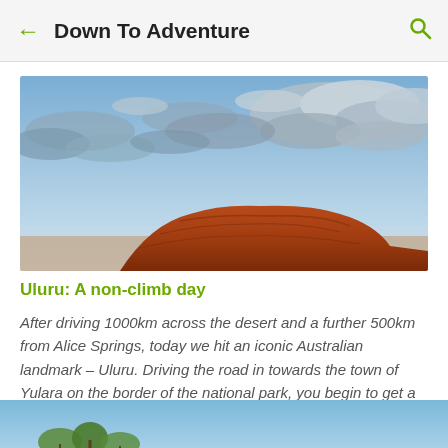Down To Adventure
[Figure (photo): Wide panoramic photo of Uluru (Ayers Rock) under a dramatic blue sky with white and grey clouds. The red sandstone rock formation is visible at the lower centre of the image.]
Uluru: A non-climb day
After driving 1000km across the desert and a further 500km from Alice Springs, today we hit an iconic Australian landmark – Uluru. Driving the road in towards the town of Yulara on the border of the national park, you begin to get a sense of the sc…
[Figure (photo): Partial view of a second article image showing blue sky and tree tops, cropped at bottom of page.]